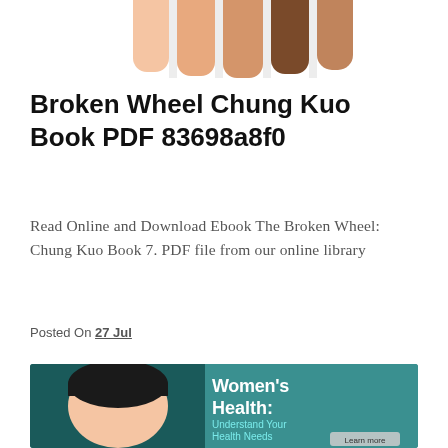[Figure (photo): Partial view of multiple human hands/fingers of different skin tones arranged side by side against a white background, cropped at the top of the page.]
Broken Wheel Chung Kuo Book PDF 83698a8f0
Read Online and Download Ebook The Broken Wheel: Chung Kuo Book 7. PDF file from our online library
Posted On 27 Jul
[Figure (photo): Promotional health banner image showing a smiling young Asian woman resting her chin on folded hands, with teal/dark background and white bold text reading "Women's Health: Understand Your Health Needs" and a "Learn more" button.]